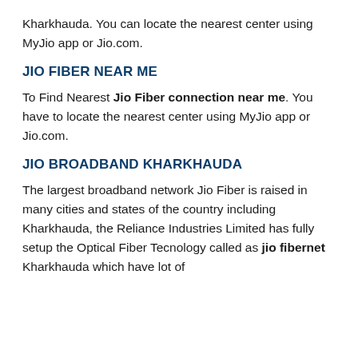Kharkhauda. You can locate the nearest center using MyJio app or Jio.com.
JIO FIBER NEAR ME
To Find Nearest Jio Fiber connection near me. You have to locate the nearest center using MyJio app or Jio.com.
JIO BROADBAND KHARKHAUDA
The largest broadband network Jio Fiber is raised in many cities and states of the country including Kharkhauda, the Reliance Industries Limited has fully setup the Optical Fiber Tecnology called as jio fibernet Kharkhauda which have lot of